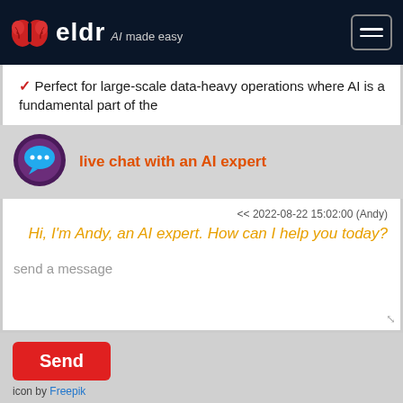eldr AI made easy
✓ Perfect for large-scale data-heavy operations where AI is a fundamental part of the
[Figure (logo): Chat bubble icon with three dots, circular purple/dark background]
live chat with an AI expert
<< 2022-08-22 15:02:00 (Andy)
Hi, I'm Andy, an AI expert. How can I help you today?
send a message
Send
icon by Freepik